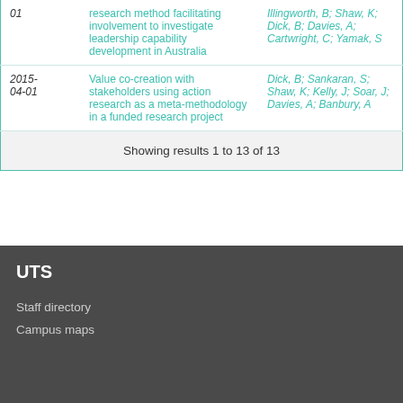| Date | Title | Authors |
| --- | --- | --- |
| 01 | research method facilitating involvement to investigate leadership capability development in Australia | Illingworth, B; Shaw, K; Dick, B; Davies, A; Cartwright, C; Yamak, S |
| 2015-04-01 | Value co-creation with stakeholders using action research as a meta-methodology in a funded research project | Dick, B; Sankaran, S; Shaw, K; Kelly, J; Soar, J; Davies, A; Banbury, A |
|  | Showing results 1 to 13 of 13 |  |
UTS
Staff directory
Campus maps